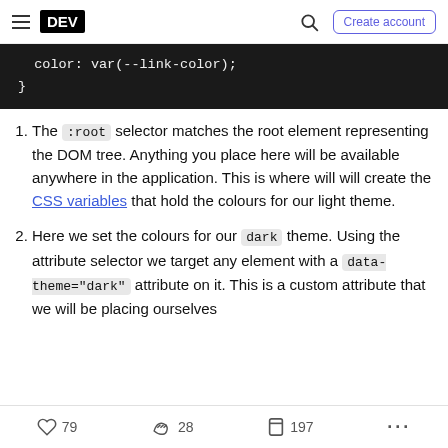DEV — Create account
color: var(--link-color);
}
The :root selector matches the root element representing the DOM tree. Anything you place here will be available anywhere in the application. This is where will will create the CSS variables that hold the colours for our light theme.
Here we set the colours for our dark theme. Using the attribute selector we target any element with a data-theme="dark" attribute on it. This is a custom attribute that we will be placing ourselves
79  28  197